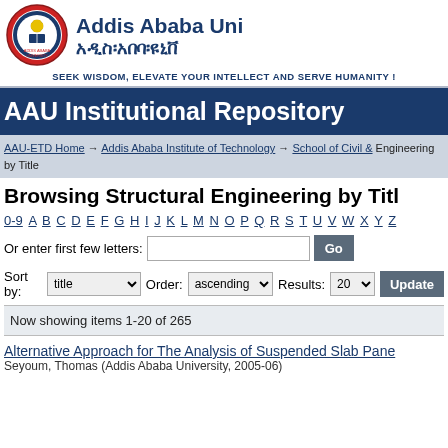[Figure (logo): Addis Ababa University circular logo with red border and university crest]
Addis Ababa Uni
አዲስ፡አበባ፡ዩኒቨ
SEEK WISDOM, ELEVATE YOUR INTELLECT AND SERVE HUMANITY !
AAU Institutional Repository
AAU-ETD Home → Addis Ababa Institute of Technology → School of Civil & Engineering by Title
Browsing Structural Engineering by Title
0-9 A B C D E F G H I J K L M N O P Q R S T U V W X Y Z
Or enter first few letters:
Sort by: title  Order: ascending  Results: 20  Update
Now showing items 1-20 of 265
Alternative Approach for The Analysis of Suspended Slab Pane
Seyoum, Thomas (Addis Ababa University, 2005-06)